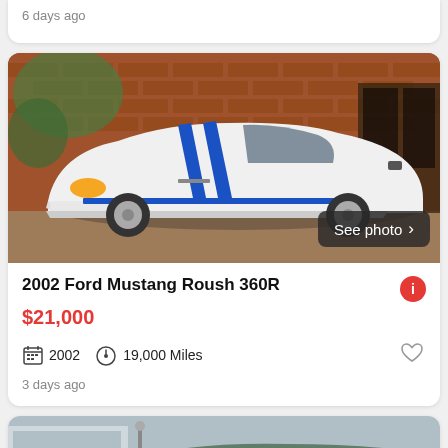6 days ago
[Figure (photo): White Ford Mustang Roush 360R with blue racing stripes parked in front of a brick building]
2002 Ford Mustang Roush 360R
$21,000
2002  19,000 Miles
3 days ago
[Figure (photo): Partial view of a dark green car in front of a garage]